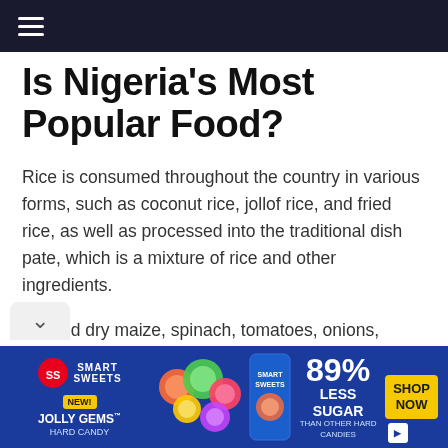≡
Is Nigeria's Most Popular Food?
Rice is consumed throughout the country in various forms, such as coconut rice, jollof rice, and fried rice, as well as processed into the traditional dish pate, which is a mixture of rice and other ingredients.
Ground dry maize, spinach, tomatoes, onions, peppers, garden eggs, locust beans, groundnuts, biscuit bones, and minced pork are some of the ingredients in this dish.
[Figure (infographic): Advertisement banner for Smart Sweets Jolly Gems Hard Candy. Blue background with colorful candy circles, 'NEW!' badge, text reading '89% LESS SUGAR THAN OTHER HARD CANDIES', and a yellow 'SHOP NOW' button.]